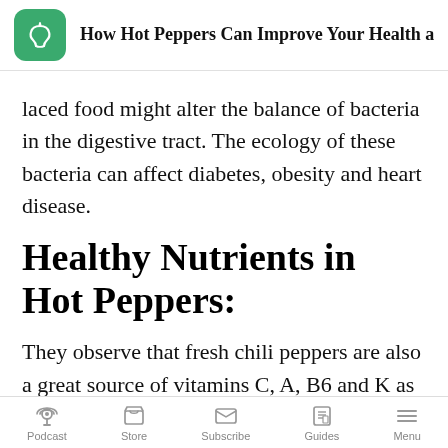How Hot Peppers Can Improve Your Health and E…
laced food might alter the balance of bacteria in the digestive tract. The ecology of these bacteria can affect diabetes, obesity and heart disease.
Healthy Nutrients in Hot Peppers:
They observe that fresh chili peppers are also a great source of vitamins C, A, B6 and K as well as potassium and capsaicin. Which of these
Podcast  Store  Subscribe  Guides  Menu